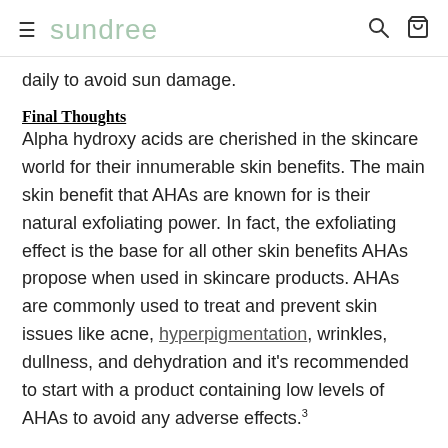≡  sundree
daily to avoid sun damage.
Final Thoughts
Alpha hydroxy acids are cherished in the skincare world for their innumerable skin benefits. The main skin benefit that AHAs are known for is their natural exfoliating power. In fact, the exfoliating effect is the base for all other skin benefits AHAs propose when used in skincare products. AHAs are commonly used to treat and prevent skin issues like acne, hyperpigmentation, wrinkles, dullness, and dehydration and it's recommended to start with a product containing low levels of AHAs to avoid any adverse effects.³